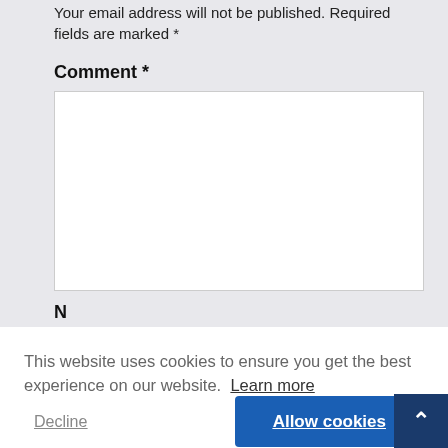Your email address will not be published. Required fields are marked *
Comment *
[Figure (screenshot): Empty white comment text area input box]
This website uses cookies to ensure you get the best experience on our website.  Learn more
Decline
Allow cookies